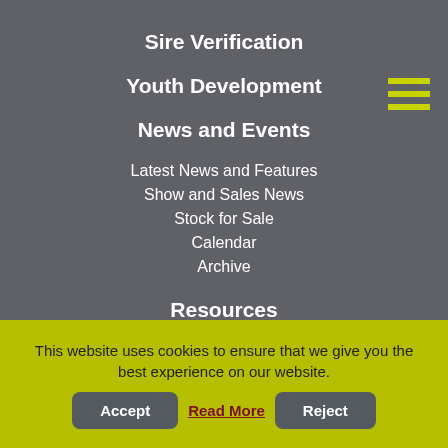Sire Verification
Youth Development
News and Events
Latest News and Features
Show and Sales News
Stock for Sale
Calendar
Archive
Resources
Contact Us
Review advertising
This website uses cookies to ensure that we give you the best experience on our website.
Accept
Read More
Reject